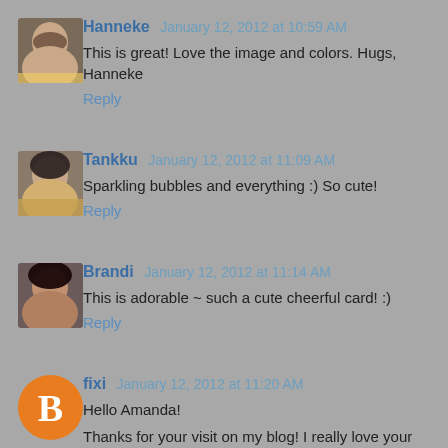[Figure (photo): Avatar photo of Hanneke, a woman with dark hair]
Hanneke January 12, 2012 at 10:59 AM
This is great! Love the image and colors. Hugs, Hanneke
Reply
[Figure (photo): Avatar photo of Tankku, a woman with dark hair]
Tankku January 12, 2012 at 11:09 AM
Sparkling bubbles and everything :) So cute!
Reply
[Figure (photo): Avatar photo of Brandi, a woman with dark hair]
Brandi January 12, 2012 at 11:14 AM
This is adorable ~ such a cute cheerful card! :)
Reply
[Figure (logo): Blogger 'B' logo icon in orange circle for user fixi]
fixi January 12, 2012 at 11:20 AM
Hello Amanda!

Thanks for your visit on my blog! I really love your creations